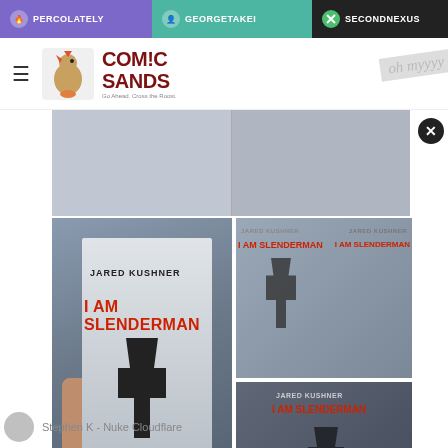PERCOLATELY | GEORGETAKEI | SECONDNEXUS
[Figure (screenshot): Comic Sands website header with rooster logo and hamburger menu]
[Figure (photo): Twitter/X post showing multiple photos of a book called 'I AM SLENDERMAN' by Jared Kushner displayed in a store]
12:36 PM · Aug 24, 2022
18  Reply  Copy link
Read 1 reply
Stephen K - Nuke Cloudflare